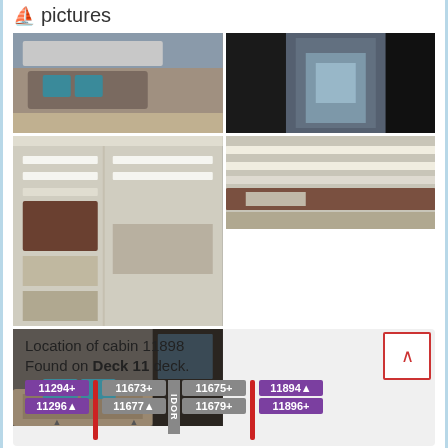pictures
[Figure (photo): Grid of 5 cruise cabin photos: sofa area, balcony door, bathroom shelves (two shots), and bedroom with bed]
Location of cabin 11898
Found on Deck 11 deck.
[Figure (schematic): Deck map showing cabin locations: 11294+, 11296▲, 11673+, 11677▲, 11675+, 11679+, 11894▲, 11896+]